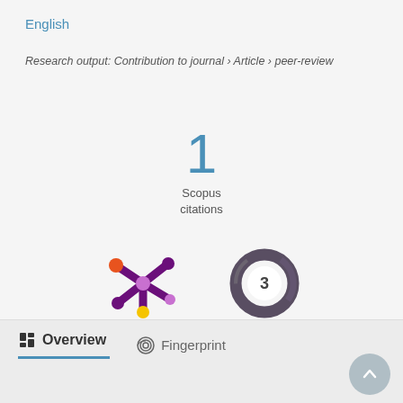English
Research output: Contribution to journal › Article › peer-review
[Figure (infographic): Citation count badge showing '1 Scopus citations']
[Figure (infographic): Altmetric-style star/snowflake logo icon (purple with orange and yellow dots) and a circular ring badge showing the number 3]
Overview
Fingerprint